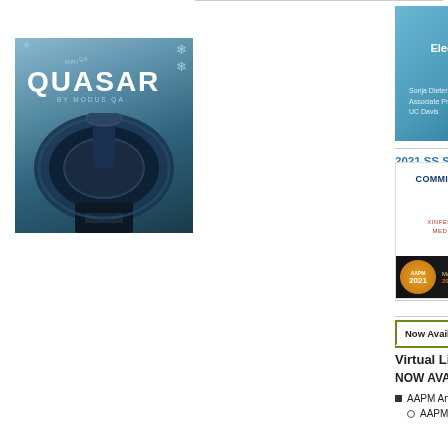[Figure (photo): QUASAR MRI by Modus QA product image showing MRI machine]
[Figure (screenshot): Slide thumbnail: Electronic Charting for Brachytherapy by Sonja Dieterich]
2016 SCM Cha... NRC Regulatio...
[Figure (screenshot): Slide thumbnail: Commissioning of an Elekta MRgRT System by Xinfeng Chen and Ergun Ahunbay, Medical College of Wisconsin, with AAPM 2021 virtual banner]
2021 SS Sessio... - Xinfeng Cher...
| Now Available | Meetings | CRCPD | Case ... |
| --- | --- | --- | --- |
Virtual Library Presentations
NOW AVAILABLE
AAPM Annual Meeting - Virtual - 20...
AAPM Members: Login to Ac...